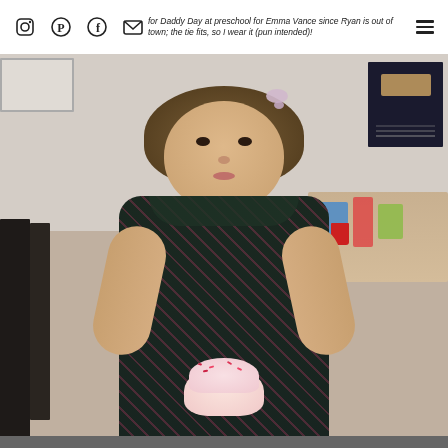for Daddy Day at preschool for Emma Vance since Ryan is out of town; the tie fits, so I wear it (pun intended)!
[Figure (photo): A young toddler girl with a light pink bow in her brown hair, wearing a dark green/black dress with pink floral pattern, sitting at a table in what appears to be a preschool classroom. She is looking down at something in her hands (appears to be a cupcake or food item with pink/white sprinkles). In the background there is a wooden table, chairs, a dark poster on the wall, and a picture frame.]